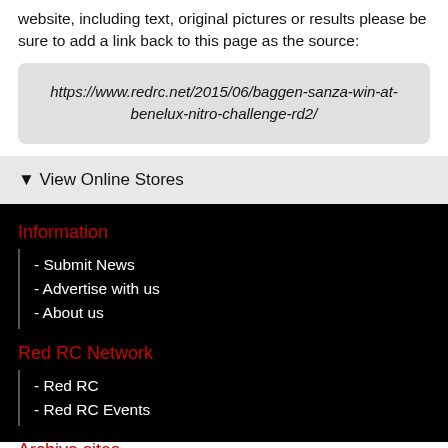website, including text, original pictures or results please be sure to add a link back to this page as the source:
https://www.redrc.net/2015/06/baggen-sanza-win-at-benelux-nitro-challenge-rd2/
▼ View Online Stores
Information
- Submit News
- Advertise with us
- About us
Red RC Network
- Red RC
- Red RC Events
Archive sites